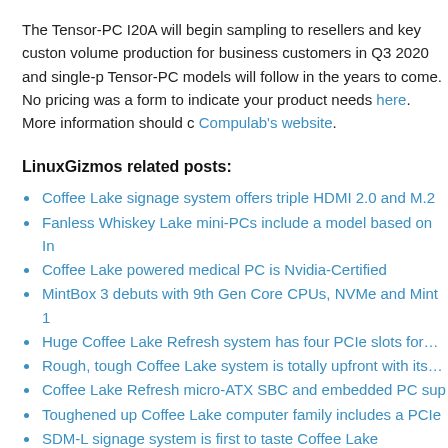The Tensor-PC I20A will begin sampling to resellers and key customers, volume production for business customers in Q3 2020 and single-p... Tensor-PC models will follow in the years to come. No pricing was a... form to indicate your product needs here. More information should c... Compulab's website.
LinuxGizmos related posts:
Coffee Lake signage system offers triple HDMI 2.0 and M.2
Fanless Whiskey Lake mini-PCs include a model based on In...
Coffee Lake powered medical PC is Nvidia-Certified
MintBox 3 debuts with 9th Gen Core CPUs, NVMe and Mint 1...
Huge Coffee Lake Refresh system has four PCIe slots for…
Rough, tough Coffee Lake system is totally upfront with its…
Coffee Lake Refresh micro-ATX SBC and embedded PC sup...
Toughened up Coffee Lake computer family includes a PCIe ...
SDM-L signage system is first to taste Coffee Lake
Compulab's Fitlet3 mini-PC offers Elkhart Lake and triple…